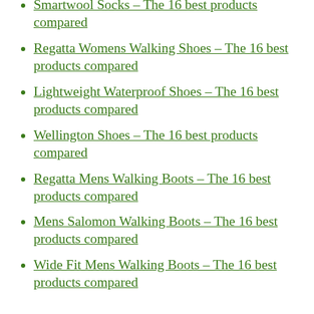Scarpa Insoles – The 16 best products compared
Smartwool Socks – The 16 best products compared
Regatta Womens Walking Shoes – The 16 best products compared
Lightweight Waterproof Shoes – The 16 best products compared
Wellington Shoes – The 16 best products compared
Regatta Mens Walking Boots – The 16 best products compared
Mens Salomon Walking Boots – The 16 best products compared
Wide Fit Mens Walking Boots – The 16 best products compared